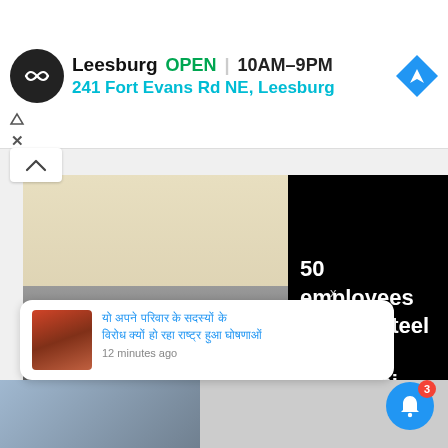[Figure (screenshot): Advertisement banner for a Leesburg store showing logo, open status, hours 10AM-9PM, address 241 Fort Evans Rd NE Leesburg, and navigation icon]
Leesburg  OPEN  10AM–9PM
241 Fort Evans Rd NE, Leesburg
[Figure (photo): Group photo of approximately 20 Tata Steel employees posing on a stage with a blue welcome banner reading 'Welcome Special Shabash', green plants in foreground]
50 employees of Tata Steel receive Shabashi Awards
[Figure (screenshot): News notification card with Hindi text headline and thumbnail image of fire/crowd scene, timestamped 12 minutes ago]
12 minutes ago